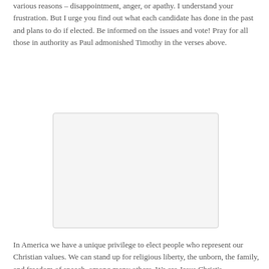various reasons – disappointment, anger, or apathy. I understand your frustration. But I urge you find out what each candidate has done in the past and plans to do if elected. Be informed on the issues and vote! Pray for all those in authority as Paul admonished Timothy in the verses above.
[Figure (photo): A blank or placeholder image box with light gray background and border]
In America we have a unique privilege to elect people who represent our Christian values. We can stand up for religious liberty, the unborn, the family, and freedom of speech, among many others. We are Jesus Christ's representatives! He said, "You are the light of the world. A city set on a hill cannot be